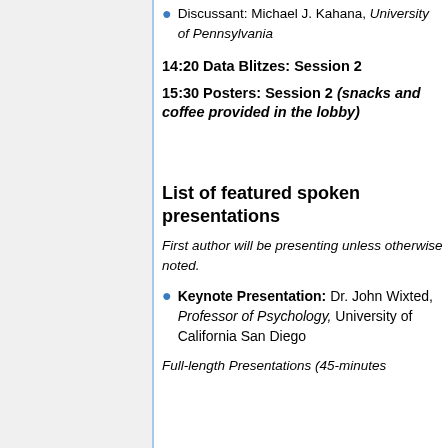Discussant: Michael J. Kahana, University of Pennsylvania
14:20 Data Blitzes: Session 2
15:30 Posters: Session 2 (snacks and coffee provided in the lobby)
List of featured spoken presentations
First author will be presenting unless otherwise noted.
Keynote Presentation: Dr. John Wixted, Professor of Psychology, University of California San Diego
Full-length Presentations (45-minutes